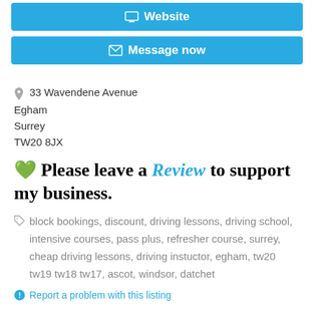[Figure (other): Blue button with monitor icon and text 'Website']
[Figure (other): Blue button with envelope icon and text 'Message now']
33 Wavendene Avenue
Egham
Surrey
TW20 8JX
💚 Please leave a Review to support my business.
block bookings, discount, driving lessons, driving school, intensive courses, pass plus, refresher course, surrey, cheap driving lessons, driving instuctor, egham, tw20 tw19 tw18 tw17, ascot, windsor, datchet
Report a problem with this listing